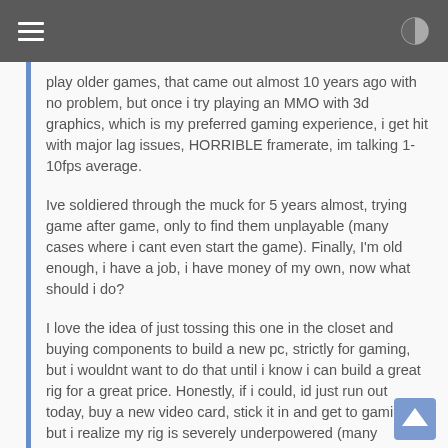play older games, that came out almost 10 years ago with no problem, but once i try playing an MMO with 3d graphics, which is my preferred gaming experience, i get hit with major lag issues, HORRIBLE framerate, im talking 1-10fps average.
Ive soldiered through the muck for 5 years almost, trying game after game, only to find them unplayable (many cases where i cant even start the game). Finally, I'm old enough, i have a job, i have money of my own, now what should i do?
I love the idea of just tossing this one in the closet and buying components to build a new pc, strictly for gaming, but i wouldnt want to do that until i know i can build a great rig for a great price. Honestly, if i could, id just run out today, buy a new video card, stick it in and get to gaming, but i realize my rig is severely underpowered (many gaming friends have let me know), and that if i were to do that, the new card would just get bottlenecked, and i would only get a tiny improvement in gameplay.